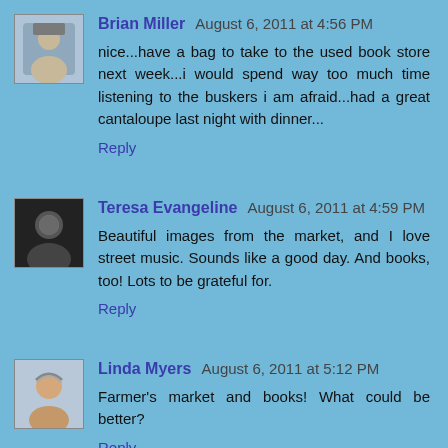Brian Miller August 6, 2011 at 4:56 PM
nice...have a bag to take to the used book store next week...i would spend way too much time listening to the buskers i am afraid...had a great cantaloupe last night with dinner...
Reply
Teresa Evangeline August 6, 2011 at 4:59 PM
Beautiful images from the market, and I love street music. Sounds like a good day. And books, too! Lots to be grateful for.
Reply
Linda Myers August 6, 2011 at 5:12 PM
Farmer's market and books! What could be better?
Reply